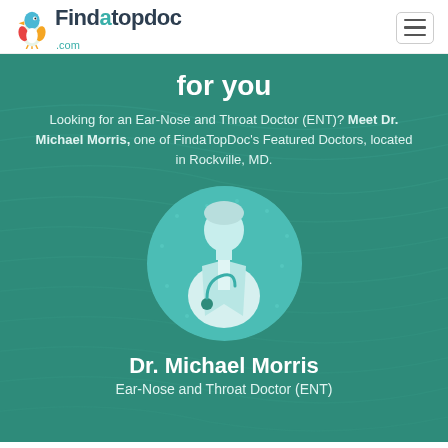[Figure (logo): FindaTopDoc.com logo with colorful bird/duck mascot icon on left and text 'Findatopdoc.com']
for you
Looking for an Ear-Nose and Throat Doctor (ENT)? Meet Dr. Michael Morris, one of FindaTopDoc's Featured Doctors, located in Rockville, MD.
[Figure (illustration): Circular profile placeholder image with silhouette of a doctor in white coat with stethoscope on teal/turquoise background]
Dr. Michael Morris
Ear-Nose and Throat Doctor (ENT)